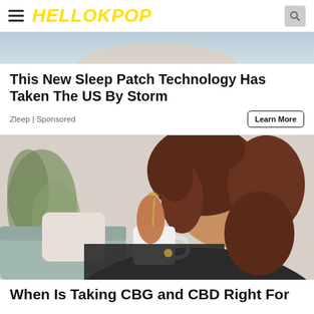HELLOKPOP
[Figure (photo): Partial top image of a person, cropped at top of page]
This New Sleep Patch Technology Has Taken The US By Storm
Zleep | Sponsored
Learn More
[Figure (photo): Woman with curly auburn hair stirring a drink into a white mug, seated in a living room with green plant in background]
When Is Taking CBG and CBD Right For